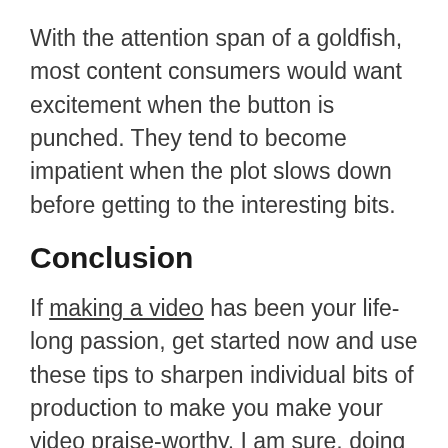With the attention span of a goldfish, most content consumers would want excitement when the button is punched. They tend to become impatient when the plot slows down before getting to the interesting bits.
Conclusion
If making a video has been your life-long passion, get started now and use these tips to sharpen individual bits of production to make you make your video praise-worthy. I am sure, doing so will help you become a great filmmaker in the days ahead.